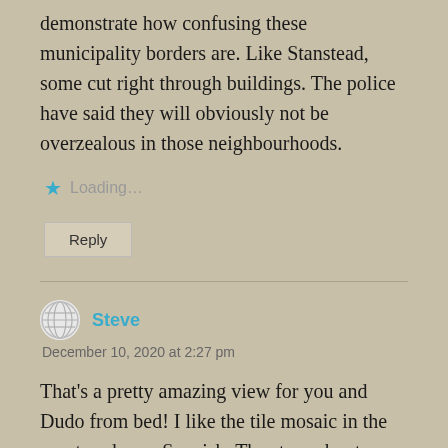demonstrate how confusing these municipality borders are. Like Stanstead, some cut right through buildings. The police have said they will obviously not be overzealous in those neighbourhoods.
Loading...
Reply
Steve
December 10, 2020 at 2:27 pm
That's a pretty amazing view for you and Dudo from bed! I like the tile mosaic in the courtyard very Spanish. The story about Maine makes